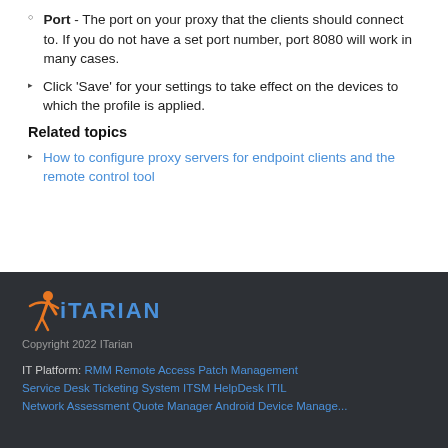Port - The port on your proxy that the clients should connect to. If you do not have a set port number, port 8080 will work in many cases.
Click 'Save' for your settings to take effect on the devices to which the profile is applied.
Related topics
How to configure proxy servers for endpoint clients and the remote control tool
Copyright 2022 ITarian
IT Platform: RMM  Remote Access  Patch Management  Service Desk  Ticketing System  ITSM  HelpDesk  ITIL  Network Assessment  Quote Manager  Android Device Manager